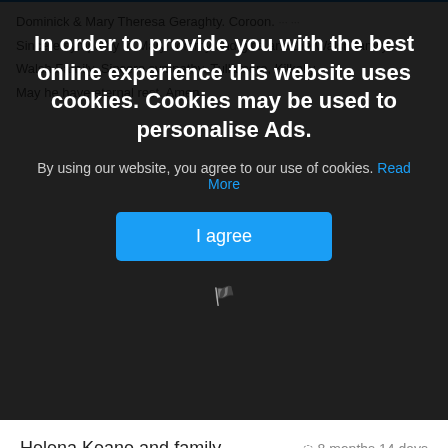Dominick & Mary Theresa Geraghty. Coroon.
Sincere sympathy to Mary Tommy and girls and the Walsh family
Walsh Family. Sincere sympathy. Tullamore, Kilkelly
May he have eternal rest. Amen.
In order to provide you with the best online experience this website uses cookies. Cookies may be used to personalise Ads.
By using our website, you agree to our use of cookies. Read More
I agree
Helena Keane and family
8 months 14 days
Sincere sympathy to Mary Tommy and girls and the Walsh family on your sad loss.Thinking of you at this sad time may he Rip
Enda & Phil O Flaherty. Islandeady.
8 months 14 days
Sincere Sympathy to the Walsh Family on the death of Anthony.